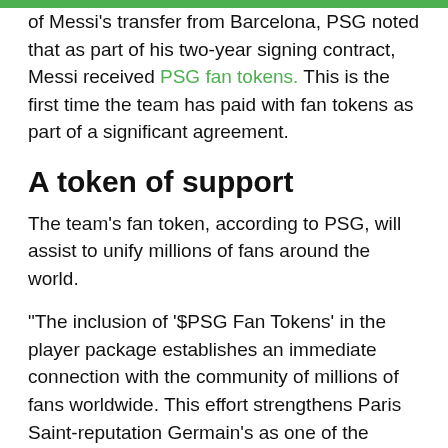of Messi's transfer from Barcelona, PSG noted that as part of his two-year signing contract, Messi received PSG fan tokens. This is the first time the team has paid with fan tokens as part of a significant agreement.
A token of support
The team's fan token, according to PSG, will assist to unify millions of fans around the world.
“The inclusion of ‘$PSG Fan Tokens’ in the player package establishes an immediate connection with the community of millions of fans worldwide. This effort strengthens Paris Saint-reputation Germain’s as one of the world’s most innovative and avant-garde sports brands.”
PSG was the first sports brand in history to